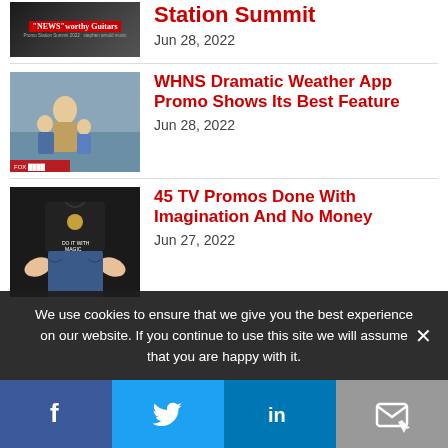[Figure (photo): Thumbnail image with NEWS worthy Guitars text and Station Summit 2022 branding on dark background]
Station Summit
Jun 28, 2022
[Figure (photo): Woman with children in what appears to be a dramatic weather scene, FOX news station watermark visible]
WHNS Dramatic Weather App Promo Shows Its Best Feature
Jun 28, 2022
[Figure (photo): Person in black t-shirt with empty pockets turned out, magic/imagination theme]
45 TV Promos Done With Imagination And No Money
Jun 27, 2022
We use cookies to ensure that we give you the best experience on our website. If you continue to use this site we will assume that you are happy with it.